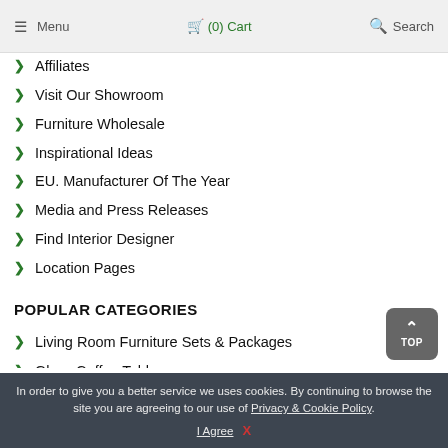Menu  (0) Cart  Search
Affiliates
Visit Our Showroom
Furniture Wholesale
Inspirational Ideas
EU. Manufacturer Of The Year
Media and Press Releases
Find Interior Designer
Location Pages
POPULAR CATEGORIES
Living Room Furniture Sets & Packages
Glass Coffee Tables
Glass Dining Tables
Glass Dining Table and 6 Chairs
Glass Dining Table and 4 Chairs
In order to give you a better service we uses cookies. By continuing to browse the site you are agreeing to our use of Privacy & Cookie Policy.
I Agree  X